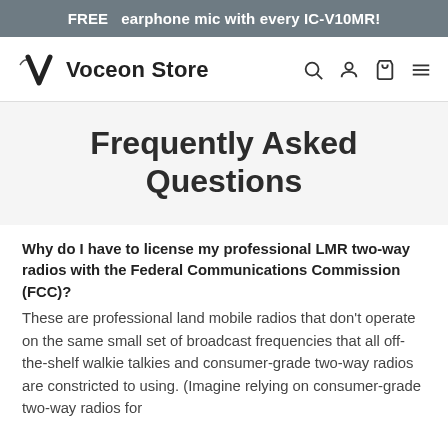FREE  earphone mic with every IC-V10MR!
[Figure (logo): Voceon Store logo with stylized V mark and navigation icons (search, user, cart, menu)]
Frequently Asked Questions
Why do I have to license my professional LMR two-way radios with the Federal Communications Commission (FCC)?
These are professional land mobile radios that don't operate on the same small set of broadcast frequencies that all off-the-shelf walkie talkies and consumer-grade two-way radios are constricted to using. (Imagine relying on consumer-grade two-way radios for